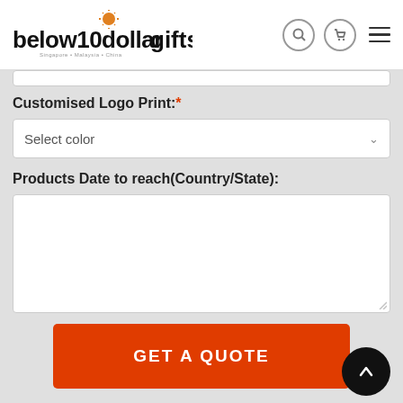[Figure (logo): below10dollargifts logo with sun/lightbulb icon above the letter g]
Customised Logo Print:*
Select color
Products Date to reach(Country/State):
GET A QUOTE